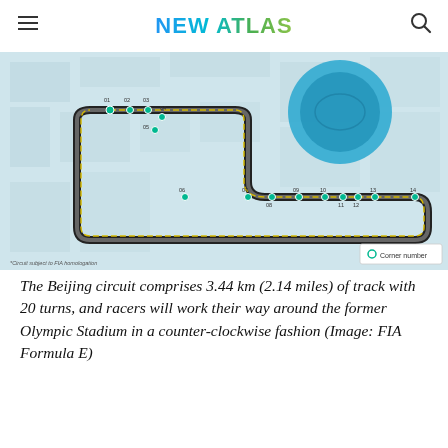NEW ATLAS
[Figure (map): Map of the Beijing Formula E circuit showing 3.44 km track around the former Olympic Stadium with numbered corners (01-14) marked with dots, dashed yellow track line, and a corner number legend. Footnote: *Circuit subject to FIA homologation]
The Beijing circuit comprises 3.44 km (2.14 miles) of track with 20 turns, and racers will work their way around the former Olympic Stadium in a counter-clockwise fashion (Image: FIA Formula E)